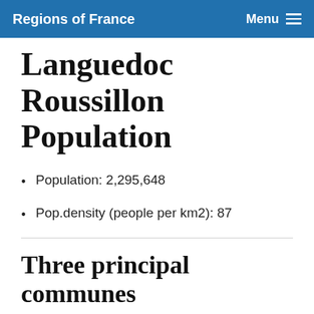Regions of France   Menu
Languedoc Roussillon Population
Population: 2,295,648
Pop.density (people per km2): 87
Three principal communes
Montpellier (287,981)